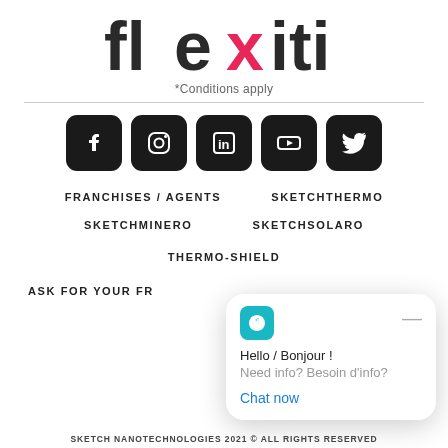[Figure (logo): Flexiti logo — 'flex' in dark charcoal and 'iti' in dark charcoal with a pink/magenta stylized X letter]
*Conditions apply
[Figure (infographic): Five black rounded-square social media icons: Facebook, Instagram, LinkedIn, YouTube, Twitter]
FRANCHISES / AGENTS
SKETCHTHERMO
SKETCHMINERO
SKETCHSOLARO
THERMO-SHIELD
ASK FOR YOUR FR
[Figure (screenshot): Chat bubble overlay: teal Shazam-like icon, Hello / Bonjour! Need info? Besoin d'info? Chat now link]
SKETCH NANOTECHNOLOGIES 2021 © ALL RIGHTS RESERVED